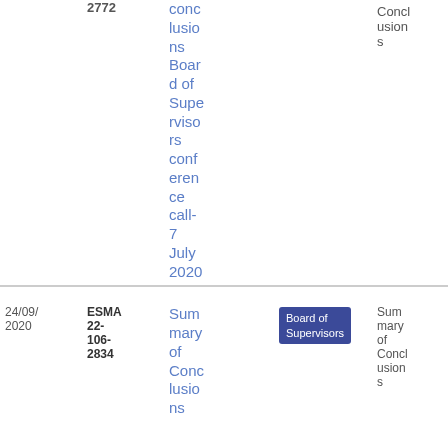| Date | Reference | Title | Body | Document Type | Download |
| --- | --- | --- | --- | --- | --- |
|  | 2772 | Summary of Conclusions Board of Supervisors conference call- 7 July 2020 |  | Conclusions | 40
9.05 KB |
| 24/09/2020 | ESMA 22-106-2834 | Summary of Conclusions | Board of Supervisors | Summary of Conclusions | PDF
14
3.98 KB |